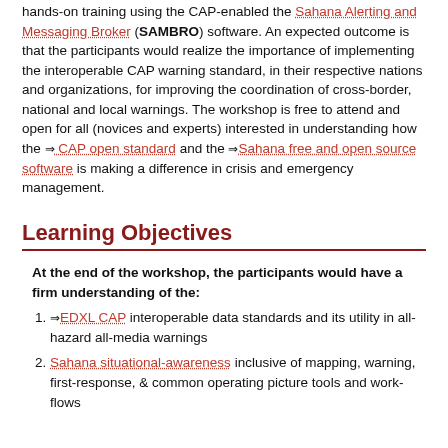hands-on training using the CAP-enabled the Sahana Alerting and Messaging Broker (SAMBRO) software. An expected outcome is that the participants would realize the importance of implementing the interoperable CAP warning standard, in their respective nations and organizations, for improving the coordination of cross-border, national and local warnings. The workshop is free to attend and open for all (novices and experts) interested in understanding how the ⇒ CAP open standard and the ⇒ Sahana free and open source software is making a difference in crisis and emergency management.
Learning Objectives
At the end of the workshop, the participants would have a firm understanding of the:
⇒ EDXL CAP interoperable data standards and its utility in all-hazard all-media warnings
Sahana situational-awareness inclusive of mapping, warning, first-response, & common operating picture tools and work-flows